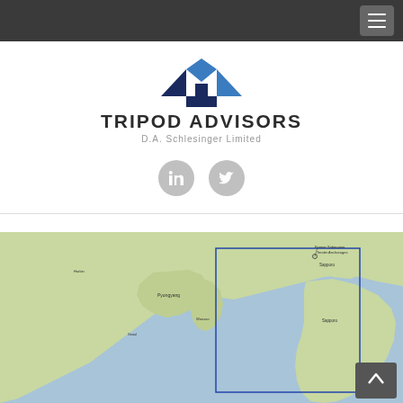Navigation bar with hamburger menu
[Figure (logo): Tripod Advisors logo with blue and dark navy arrow/house icon, text 'TRIPOD ADVISORS' and subtitle 'D.A. Schlesinger Limited']
[Figure (infographic): LinkedIn and Twitter social media icons as grey circles]
[Figure (map): Geographic map showing East Asia region including Korean Peninsula, northeastern China, and Japan with a blue rectangular boundary box drawn over part of the region.]